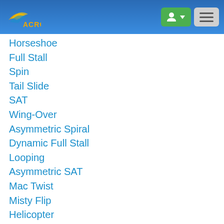ACRO logo and navigation header
Horseshoe
Full Stall
Spin
Tail Slide
SAT
Wing-Over
Asymmetric Spiral
Dynamic Full Stall
Looping
Asymmetric SAT
Mac Twist
Misty Flip
Helicopter
SAT to Helico
Helico to SAT
Helico to Helico / Twister
Tumbling
Rhythmic SAT
Misty to Tumbling
Synchro Spiral